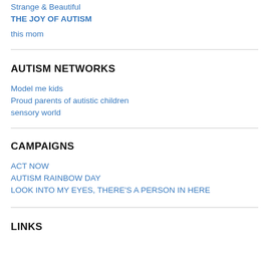Strange & Beautiful
THE JOY OF AUTISM
this mom
AUTISM NETWORKS
Model me kids
Proud parents of autistic children
sensory world
CAMPAIGNS
ACT NOW
AUTISM RAINBOW DAY
LOOK INTO MY EYES, THERE'S A PERSON IN HERE
LINKS